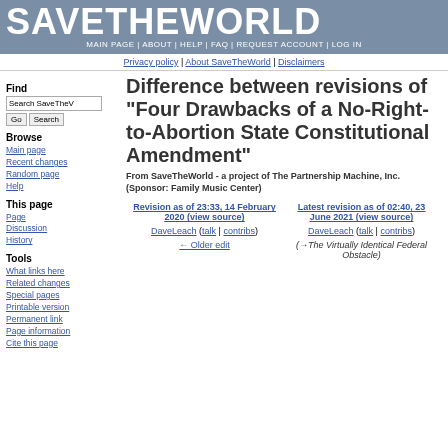SAVETHEWORLD | MAIN PAGE | ABOUT | HELP | FAQ | REQUEST ACCOUNT | LOG IN
Privacy policy | About SaveTheWorld | Disclaimers
Find
Browse
Main page
Recent changes
Random page
Help
This page
Page
Discussion
History
Tools
What links here
Related changes
Special pages
Printable version
Permanent link
Page information
Cite this page
Difference between revisions of "Four Drawbacks of a No-Right-to-Abortion State Constitutional Amendment"
From SaveTheWorld - a project of The Partnership Machine, Inc. (Sponsor: Family Music Center)
| Revision as of 23:33, 14 February 2020 (view source) | Latest revision as of 02:40, 23 June 2021 (view source) |
| --- | --- |
| DaveLeach (talk | contribs) | DaveLeach (talk | contribs) |
| ← Older edit | (→The Virtually Identical Federal Obstacle) |